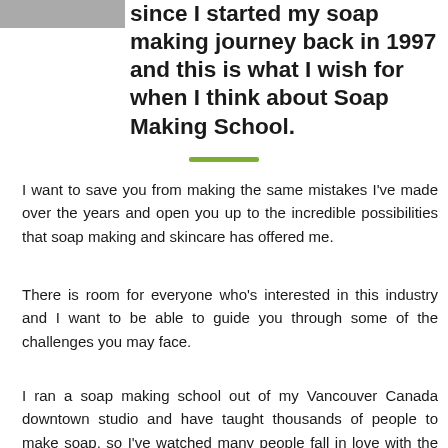[Figure (photo): Partial photo visible at top-left corner of the page]
everything I know and have learned since I started my soap making journey back in 1997 and this is what I wish for when I think about Soap Making School.
I want to save you from making the same mistakes I've made over the years and open you up to the incredible possibilities that soap making and skincare has offered me.
There is room for everyone who's interested in this industry and I want to be able to guide you through some of the challenges you may face.
I ran a soap making school out of my Vancouver Canada downtown studio and have taught thousands of people to make soap, so I've watched many people fall in love with the process